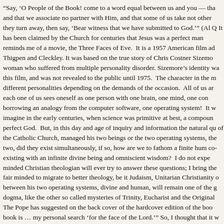“Say, ‘O People of the Book! come to a word equal between us and you — tha and that we associate no partner with Him, and that some of us take not other they turn away, then say, ‘Bear witness that we have submitted to God.’” (Al Q It has been claimed by the Church for centuries that Jesus was a perfect man reminds me of a movie, the Three Faces of Eve. It is a 1957 American film ad Thigpen and Cleckley. It was based on the true story of Chris Costner Sizemo woman who suffered from multiple personality disorder. Sizemore’s identity wa this film, and was not revealed to the public until 1975. The character in the m different personalities depending on the demands of the occasion. All of us ar each one of us sees oneself as one person with one brain, one mind, one con borrowing an analogy from the computer software, one operating system! It w imagine in the early centuries, when science was primitive at best, a compoun perfect God. But, in this day and age of inquiry and information the natural qu of the Catholic Church, managed his two beings or the two operating systems, the two, did they exist simultaneously, if so, how are we to fathom a finite hum co-existing with an infinite divine being and omniscient wisdom? I do not expe minded Christian theologian will ever try to answer these questions; I bring the fair minded to migrate to better theology, be it Judaism, Unitarian Christianity o between his two operating systems, divine and human, will remain one of the g dogma, like the other so called mysteries of Trinity, Eucharist and the Original The Pope has suggested on the back cover of the hardcover edition of the boo book is … my personal search ‘for the face of the Lord.’” So, I thought that it w this invitation mostly in the paradigm of his own book, using some of the metap last chapter he delves into what the Church has sympathetically called a myste Kierkegaard calls a paradox par excellence, yes, I am alluding to the dogma